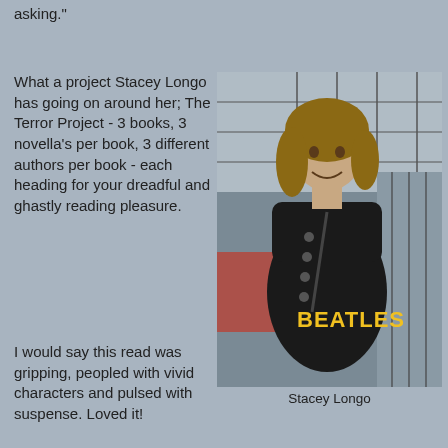asking."
What a project Stacey Longo has going on around her; The Terror Project - 3 books, 3 novella's per book, 3 different authors per book - each heading for your dreadful and ghastly reading pleasure.
[Figure (photo): Photo of Stacey Longo, a woman with shoulder-length brown hair wearing a black Beatles t-shirt and a lanyard, smiling at the camera in what appears to be an indoor event setting.]
Stacey Longo
I would say this read was gripping, peopled with vivid characters and pulsed with suspense. Loved it!